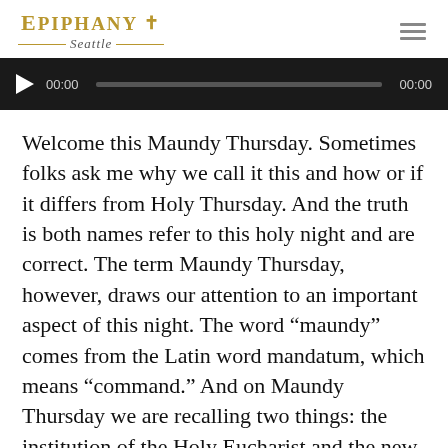EPIPHANY Seattle
[Figure (other): Audio player with play button, time display 00:00, progress bar, and duration 00:00 on dark background]
Welcome this Maundy Thursday. Sometimes folks ask me why we call it this and how or if it differs from Holy Thursday. And the truth is both names refer to this holy night and are correct. The term Maundy Thursday, however, draws our attention to an important aspect of this night. The word “maundy” comes from the Latin word mandatum, which means “command.” And on Maundy Thursday we are recalling two things: the institution of the Holy Eucharist and the new commandment that Jesus gave to his